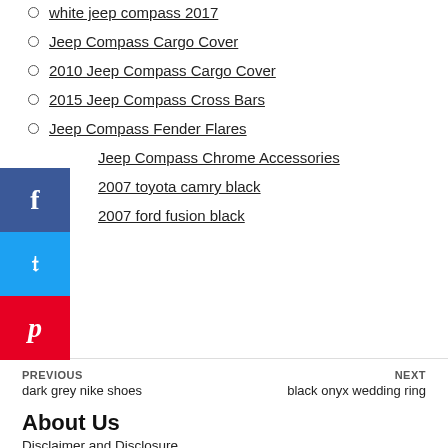white jeep compass 2017
Jeep Compass Cargo Cover
2010 Jeep Compass Cargo Cover
2015 Jeep Compass Cross Bars
Jeep Compass Fender Flares
Jeep Compass Chrome Accessories
2007 toyota camry black
2007 ford fusion black
PREVIOUS
dark grey nike shoes
NEXT
black onyx wedding ring
About Us
Disclaimer and Disclosure